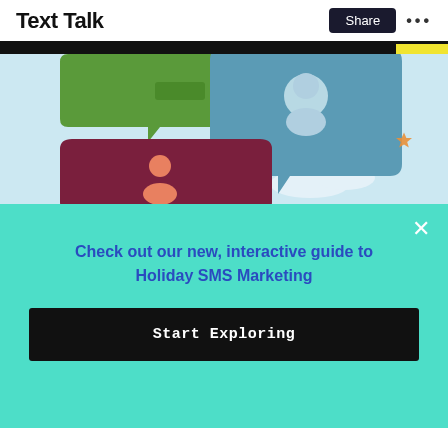Text Talk
[Figure (illustration): Illustration showing speech bubbles with person silhouettes — a teal/blue large speech bubble with a person icon, a green speech bubble, and a dark red/maroon speech bubble with an orange person icon, on a light blue sky background with clouds.]
Check out our new, interactive guide to Holiday SMS Marketing
Start Exploring